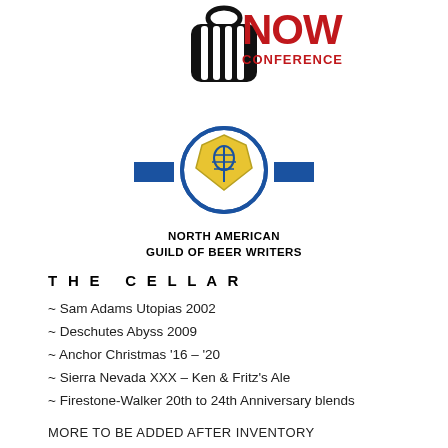[Figure (logo): NOW CONFERENCE logo with black pumpkin/bag icon and red 'NOW' text and 'CONFERENCE' subtitle]
[Figure (logo): North American Guild of Beer Writers logo: circular blue and gold badge with cobra/shield emblem and blue ribbon banner, with black bold text 'NORTH AMERICAN GUILD OF BEER WRITERS' below]
THE CELLAR
~ Sam Adams Utopias 2002
~ Deschutes Abyss 2009
~ Anchor Christmas '16 – '20
~ Sierra Nevada XXX – Ken & Fritz's Ale
~ Firestone-Walker 20th to 24th Anniversary blends
MORE TO BE ADDED AFTER INVENTORY